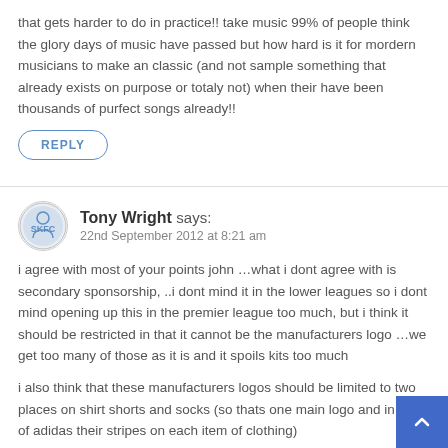that gets harder to do in practice!! take music 99% of people think the glory days of music have passed but how hard is it for mordern musicians to make an classic (and not sample something that already exists on purpose or totaly not) when their have been thousands of purfect songs already!!
REPLY
Tony Wright says:
22nd September 2012 at 8:21 am
i agree with most of your points john …what i dont agree with is secondary sponsorship, ..i dont mind it in the lower leagues so i dont mind opening up this in the premier league too much, but i think it should be restricted in that it cannot be the manufacturers logo …we get too many of those as it is and it spoils kits too much
i also think that these manufacturers logos should be limited to two places on shirt shorts and socks (so thats one main logo and in case of adidas their stripes on each item of clothing)